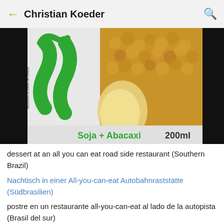Christian Koeder
[Figure (photo): Close-up photo of a soy and pineapple (Soja + Abacaxi) 200ml drink carton with green logo against a dark background, with a pineapple visible]
dessert at an all you can eat road side restaurant (Southern Brazil)
Nachtisch in einer All-you-can-eat Autobahnraststätte (Südbrasilien)
postre en un restaurante all-you-can-eat al lado de la autopista (Brasil del sur)